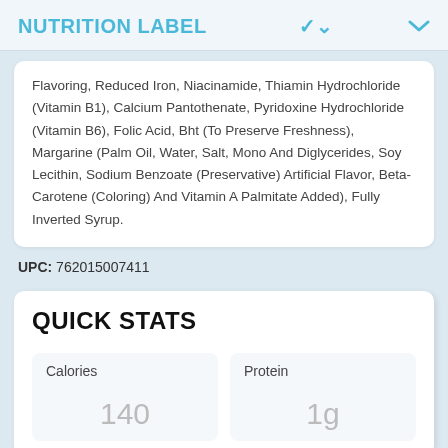NUTRITION LABEL
Flavoring, Reduced Iron, Niacinamide, Thiamin Hydrochloride (Vitamin B1), Calcium Pantothenate, Pyridoxine Hydrochloride (Vitamin B6), Folic Acid, Bht (To Preserve Freshness), Margarine (Palm Oil, Water, Salt, Mono And Diglycerides, Soy Lecithin, Sodium Benzoate (Preservative) Artificial Flavor, Beta-Carotene (Coloring) And Vitamin A Palmitate Added), Fully Inverted Syrup.
UPC: 762015007411
QUICK STATS
Calories
140
Protein
1g